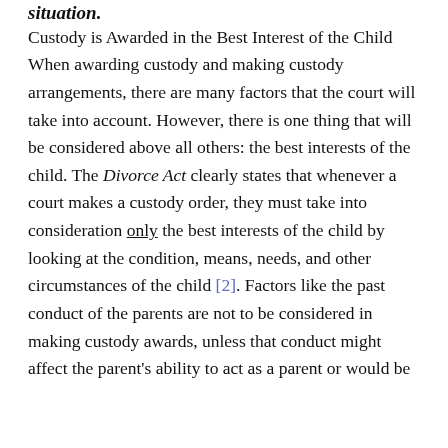situation.
Custody is Awarded in the Best Interest of the Child
When awarding custody and making custody arrangements, there are many factors that the court will take into account. However, there is one thing that will be considered above all others: the best interests of the child. The Divorce Act clearly states that whenever a court makes a custody order, they must take into consideration only the best interests of the child by looking at the condition, means, needs, and other circumstances of the child [2]. Factors like the past conduct of the parents are not to be considered in making custody awards, unless that conduct might affect the parent's ability to act as a parent or would be